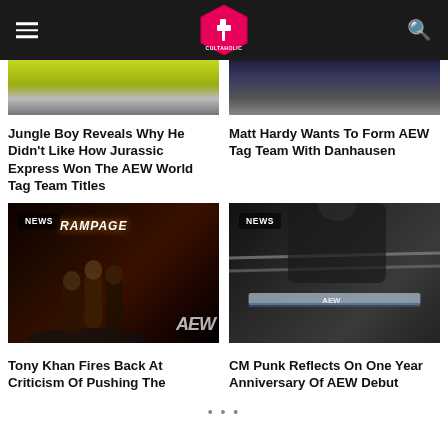Cultaholic
[Figure (photo): Partial image of wrestlers with championship belts, colorful lighting (top left article)]
[Figure (photo): Partial image of wrestler/person in dark setting (top right article)]
Jungle Boy Reveals Why He Didn't Like How Jurassic Express Won The AEW World Tag Team Titles
Matt Hardy Wants To Form AEW Tag Team With Danhausen
[Figure (photo): NEWS badge overlay. AEW Rampage wrestlers on ring, dark background with orange/red lighting]
[Figure (photo): NEWS badge overlay. CM Punk leaning over ring ropes, close-up ringside shot]
Tony Khan Fires Back At Criticism Of Pushing The
CM Punk Reflects On One Year Anniversary Of AEW Debut
...